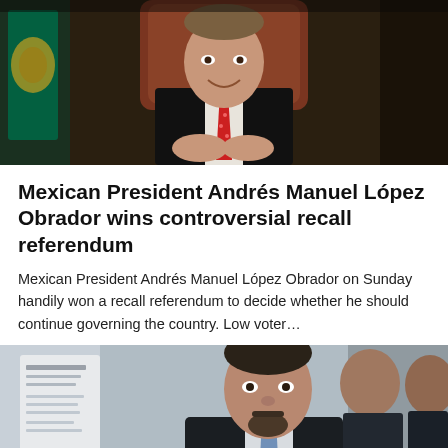[Figure (photo): Mexican President Andrés Manuel López Obrador seated at a desk in a dark suit and red tie, with the Mexican flag visible to his left, smiling with hands clasped]
Mexican President Andrés Manuel López Obrador wins controversial recall referendum
Mexican President Andrés Manuel López Obrador on Sunday handily won a recall referendum to decide whether he should continue governing the country. Low voter…
[Figure (photo): A man in a dark suit with a light blue tie, with a goatee, standing in a hallway with other men in suits visible behind him, and a document visible to the left]